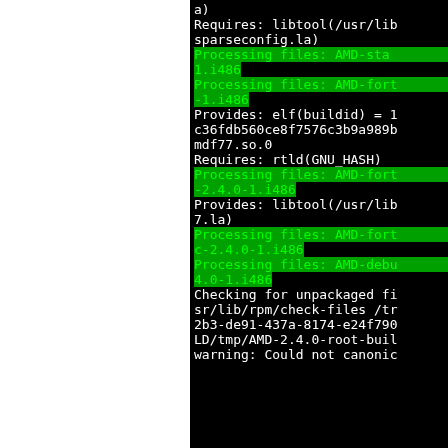a)
Requires: libtool(/usr/lib sparseconfig.la)
Processing files: AMD-sta 1.i486
Processing files: AMD-fort -1.i486
Provides: elf(buildid) = 1 c36fdb560ce8f7576c3b9a989b mdf77.so.0
Requires: rtld(GNU_HASH)
Processing files: AMD-fort -2.4.0-1.i486
Provides: libtool(/usr/lib 7.la)
Processing files: AMD-fort c-2.4.0-1.i486
Processing files: AMD-debu 4.0-1.i486
Checking for unpackaged fi sr/lib/rpm/check-files /tr 2b3-de91-437a-8174-e24f790 LD/tmp/AMD-2.4.0-root-buil warning: Could not canonic